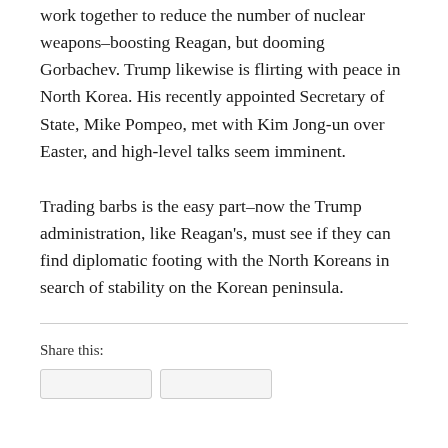work together to reduce the number of nuclear weapons–boosting Reagan, but dooming Gorbachev. Trump likewise is flirting with peace in North Korea. His recently appointed Secretary of State, Mike Pompeo, met with Kim Jong-un over Easter, and high-level talks seem imminent.
Trading barbs is the easy part–now the Trump administration, like Reagan's, must see if they can find diplomatic footing with the North Koreans in search of stability on the Korean peninsula.
Share this: